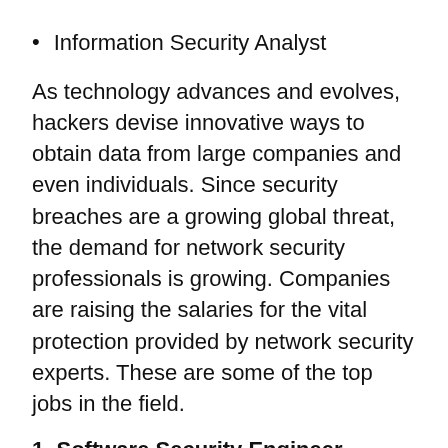Information Security Analyst
As technology advances and evolves, hackers devise innovative ways to obtain data from large companies and even individuals. Since security breaches are a growing global threat, the demand for network security professionals is growing. Companies are raising the salaries for the vital protection provided by network security experts. These are some of the top jobs in the field.
1. Software Security Engineer
For leadership positions, the average salary for this title is over $230,000. These professionals have duties ranging from developing software for